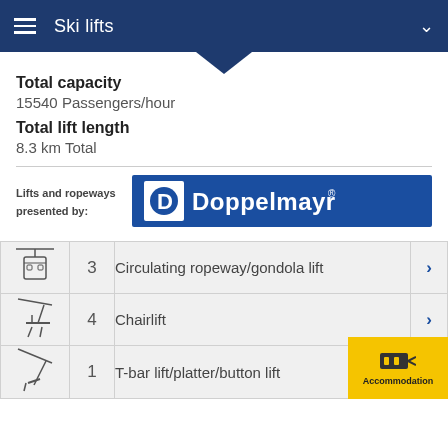Ski lifts
Total capacity
15540 Passengers/hour
Total lift length
8.3 km Total
[Figure (logo): Doppelmayr logo — white D in a square on blue background, followed by text Doppelmayr in white]
Lifts and ropeways presented by:
| Icon | Count | Type |  |
| --- | --- | --- | --- |
| [gondola icon] | 3 | Circulating ropeway/gondola lift | > |
| [chairlift icon] | 4 | Chairlift | > |
| [t-bar icon] | 1 | T-bar lift/platter/button lift | > |